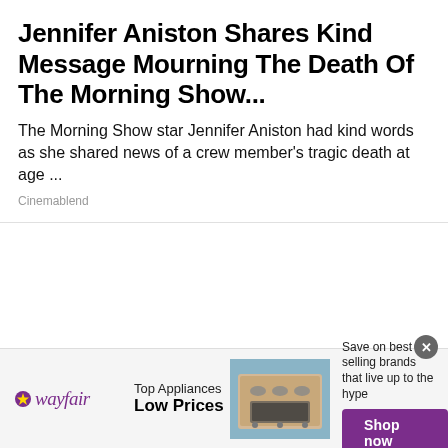Jennifer Aniston Shares Kind Message Mourning The Death Of The Morning Show...
The Morning Show star Jennifer Aniston had kind words as she shared news of a crew member's tragic death at age ...
Cinemablend
[Figure (other): Wayfair advertisement banner showing logo, 'Top Appliances Low Prices' text, oven/range image, 'Save on best selling brands that live up to the hype' text, and a purple 'Shop now' button]